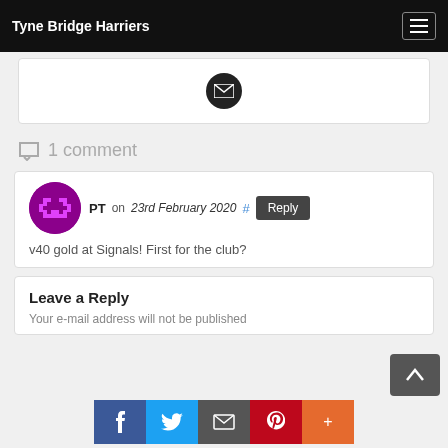Tyne Bridge Harriers
[Figure (other): Email icon (envelope) in black circle]
1 comment
PT on 23rd February 2020  #  Reply
v40 gold at Signals! First for the club?
Leave a Reply
Your e-mail address will not be published